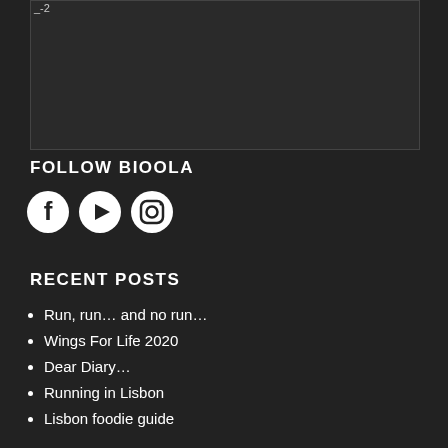[Figure (photo): Dark rectangular image block at top of page]
FOLLOW BIOOLA
[Figure (infographic): Social media icons: Facebook, YouTube, Instagram]
RECENT POSTS
Run, run… and no run…
Wings For Life 2020
Dear Diary…
Running in Lisbon
Lisbon foodie guide